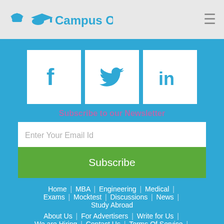Campus Option
[Figure (logo): Campus Option logo with graduation cap icon and blue text]
[Figure (infographic): Social media icons: Facebook, Twitter, LinkedIn as white square buttons on blue background]
Subscribe to our Newsletter
Enter Your Email Id
Subscribe
Home | MBA | Engineering | Medical | Exams | Mocktest | Discussions | News | Study Abroad
About Us | For Advertisers | Write for Us | We are Hiring | Contact Us | Terms Of Service |